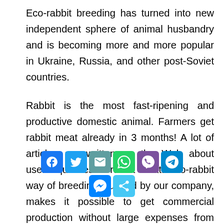Eco-rabbit breeding has turned into new independent sphere of animal husbandry and is becoming more and more popular in Ukraine, Russia, and other post-Soviet countries.
Rabbit is the most fast-ripening and productive domestic animal. Farmers get rabbit meat already in 3 months! A lot of articles are written on the Web about useful qualities of rabbit meat. Eco-rabbit way of breeding founded by our company, makes it possible to get commercial production without large expenses from the natural
[Figure (other): Social media share buttons overlay: Facebook, Twitter, Email, WhatsApp, Viber, Telegram (top row), Messenger, Share (bottom row)]